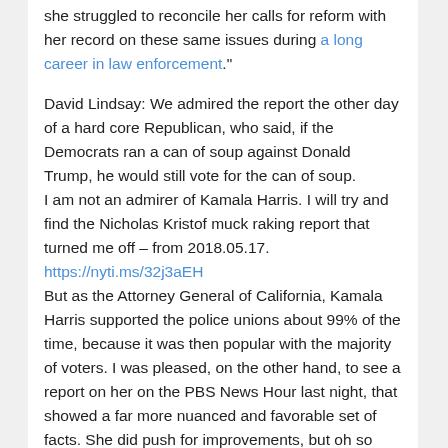she struggled to reconcile her calls for reform with her record on these same issues during a long career in law enforcement."
David Lindsay: We admired the report the other day of a hard core Republican, who said, if the Democrats ran a can of soup against Donald Trump, he would still vote for the can of soup.
I am not an admirer of Kamala Harris. I will try and find the Nicholas Kristof muck raking report that turned me off – from 2018.05.17.
https://nyti.ms/32j3aEH
But as the Attorney General of California, Kamala Harris supported the police unions about 99% of the time, because it was then popular with the majority of voters. I was pleased, on the other hand, to see a report on her on the PBS News Hour last night, that showed a far more nuanced and favorable set of facts. She did push for improvements, but oh so gently. When a police officer killed a person, she always deferred to the local district attorney, to decide whether to investigate the police to respect the current process. And investigations almost